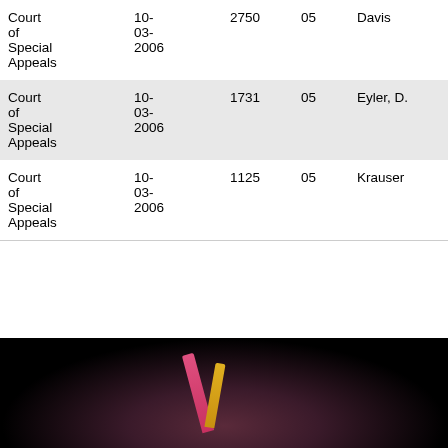| Court | Date | Number | Term | Judge | Parties |
| --- | --- | --- | --- | --- | --- |
| Court of Special Appeals | 10-03-2006 | 2750 | 05 | Davis | He... |
| Court of Special Appeals | 10-03-2006 | 1731 | 05 | Eyler, D. | Fer... |
| Court of Special Appeals | 10-03-2006 | 1125 | 05 | Krauser | Gar... |
[Figure (photo): Dark background with colorful pens or pencils (pink, yellow) partially visible at the bottom of the page]